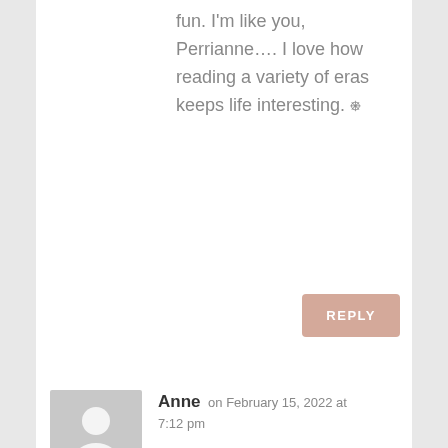fun. I'm like you, Perrianne…. I love how reading a variety of eras keeps life interesting. 🙂
REPLY
Anne on February 15, 2022 at 7:12 pm
My favorite era is the 1940's since it is a time of great upheaval, profound, unforgettable